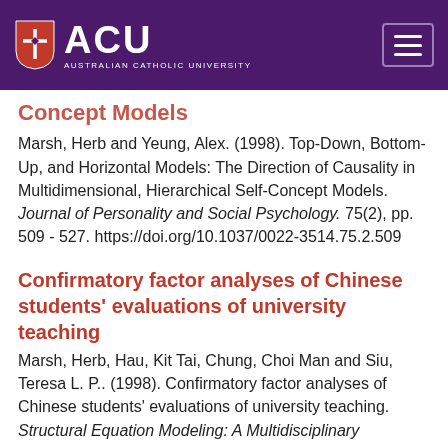[Figure (logo): ACU (Australian Catholic University) logo with shield on purple header bar, and hamburger menu icon on the right]
Concept Models
Marsh, Herb and Yeung, Alex. (1998). Top-Down, Bottom-Up, and Horizontal Models: The Direction of Causality in Multidimensional, Hierarchical Self-Concept Models. Journal of Personality and Social Psychology. 75(2), pp. 509 - 527. https://doi.org/10.1037/0022-3514.75.2.509
Confirmatory factor analyses of Chinese students' evaluations of university teaching
Marsh, Herb, Hau, Kit Tai, Chung, Choi Man and Siu, Teresa L. P.. (1998). Confirmatory factor analyses of Chinese students' evaluations of university teaching. Structural Equation Modeling: A Multidisciplinary